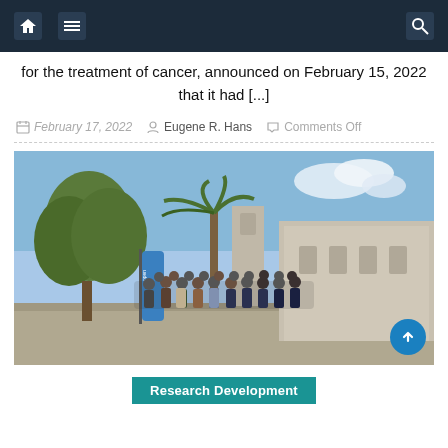Navigation bar with home, menu, and search icons
for the treatment of cancer, announced on February 15, 2022 that it had [...]
February 17, 2022   Eugene R. Hans   Comments Off
[Figure (photo): Group photo of approximately 25-30 people standing outdoors in front of a stone building with trees and a palm tree, with a blue banner/flag visible on the left side.]
Research Development